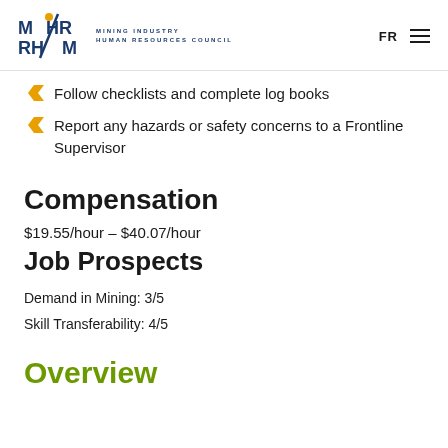MiHR Mining Industry Human Resources Council | FR
Follow checklists and complete log books
Report any hazards or safety concerns to a Frontline Supervisor
Compensation
$19.55/hour – $40.07/hour
Job Prospects
Demand in Mining: 3/5
Skill Transferability: 4/5
Overview